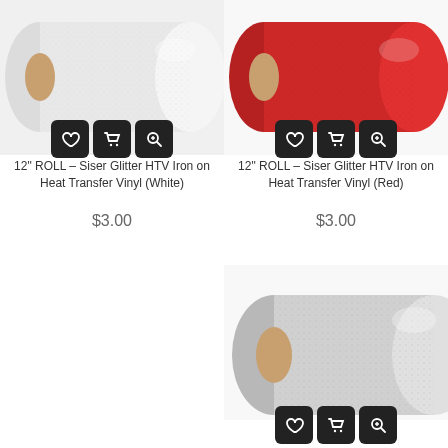[Figure (photo): Rolled white glitter heat transfer vinyl with action buttons (heart, cart, zoom)]
12" ROLL - Siser Glitter HTV Iron on Heat Transfer Vinyl (White)
$3.00
[Figure (photo): Rolled red glitter heat transfer vinyl with action buttons (heart, cart, zoom)]
12" ROLL - Siser Glitter HTV Iron on Heat Transfer Vinyl (Red)
$3.00
[Figure (photo): Rolled silver glitter heat transfer vinyl with action buttons (heart, cart, zoom)]